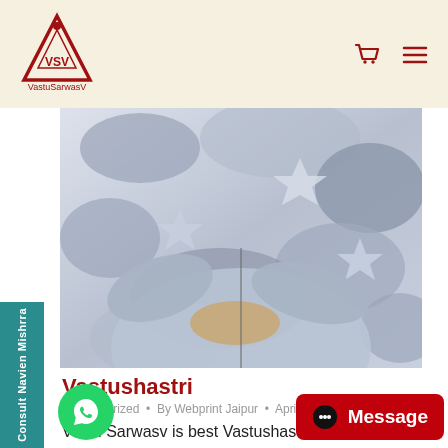[Figure (logo): VastuSarwasV logo — triangle with VSV text inside, red outline, with brand name below]
[Figure (photo): Person with arms crossed wearing a camouflage jacket, cropped to torso]
Vastushastri
Uncategorized • By Webprint Jaipur • April 23, 2020
Vastu Sarwasv is best Vastushastri. We also provide services like Vastu location, Vastu plan, Vastu logo, Vastu layout, Vasu land, Vastu value, Vasu shaved house, L-shaped house, road theory, Vastu hit, Vastu Junction, Junction l
[Figure (other): WhatsApp contact button (green circle with WhatsApp icon)]
[Figure (other): Message button (red pill button with chat icon and Message text)]
Consult Navien Mishrra